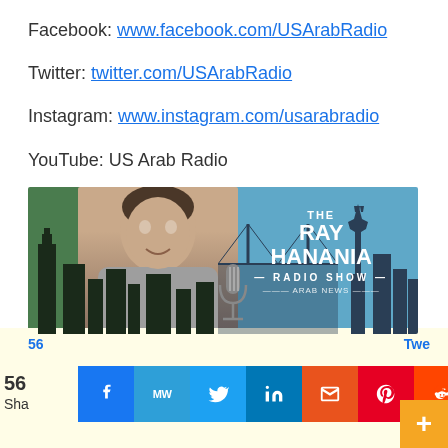Facebook: www.facebook.com/USArabRadio
Twitter: twitter.com/USArabRadio
Instagram: www.instagram.com/usarabradio
YouTube: US Arab Radio
[Figure (photo): Banner for The Ray Hanania Radio Show on Arab News, featuring a man at a microphone against a green and blue city skyline silhouette background]
56 Shares  56  Sha  Twe
[Figure (infographic): Social media share buttons: Facebook, MeWe, Twitter, LinkedIn, Email, Pinterest, Reddit, Mix, WhatsApp]